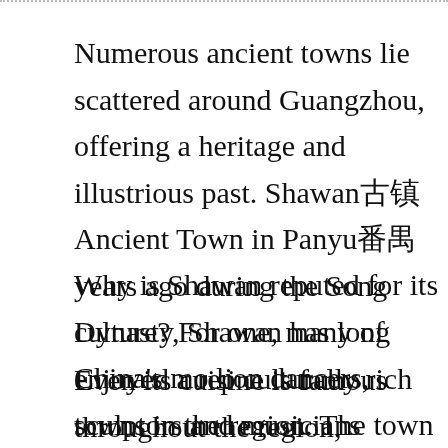Numerous ancient towns lie scattered around Guangzhou, offering a heritage and illustrious past. Shawan古镇 Ancient Town in Panyu番禺 years ago during the Song Dynasty, Shawan has long enjoyed a rep culturally rich towns in the region. The town boasts over 100 ancien preserved ancient buildings. Just a subway ride and bus hop away t idyllic and culturally rewarding way to spend a day away from the ci
Why is Shawan reputed for its culture? For one, many of China's mo lion dancers, sculptors and musicians originate from Shawan, and t Canton Opera. Shawan has managed to preserve a large number o well as ancient murals and other Lingnan-style relics.
Even its cuisine is famous throughout the region, especially such sp the mooncake-like pastry "Dongyong Dabing姜撞奶饼". Another reason colourful parades and traditional events whenever an important fest usually quiet town into a buzzing cultural center that pays homage t